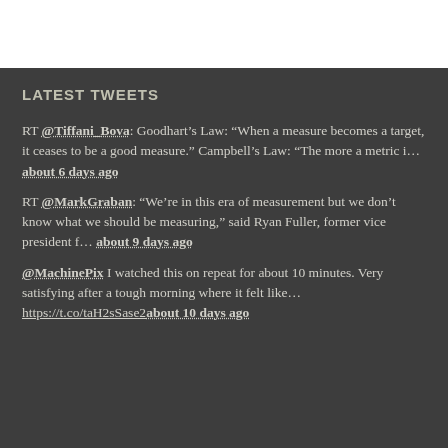LATEST TWEETS
RT @Tiffani_Bova: Goodhart's Law: “When a measure becomes a target, it ceases to be a good measure.” Campbell’s Law: "The more a metric i… about 6 days ago
RT @MarkGraban: “We’re in this era of measurement but we don’t know what we should be measuring,” said Ryan Fuller, former vice president f… about 9 days ago
@MachinePix I watched this on repeat for about 10 minutes. Very satisfying after a tough morning where it felt like… https://t.co/taH2sSase2about 10 days ago